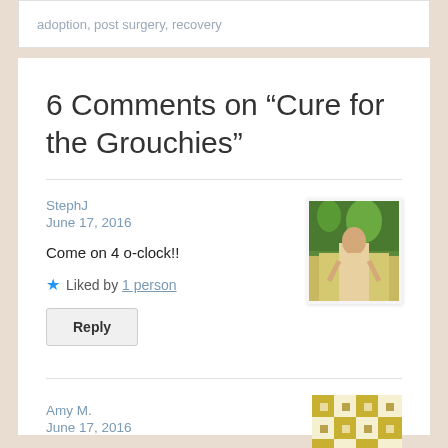adoption, post surgery, recovery
6 Comments on “Cure for the Grouchies”
StephJ
June 17, 2016
[Figure (photo): Avatar photo of StephJ: a young woman standing outdoors among green trees and yellow flowers]
Come on 4 o-clock!!
Liked by 1 person
Reply
Amy M.
June 17, 2016
[Figure (illustration): Avatar icon for Amy M.: a gold and white geometric quilt-pattern square icon]